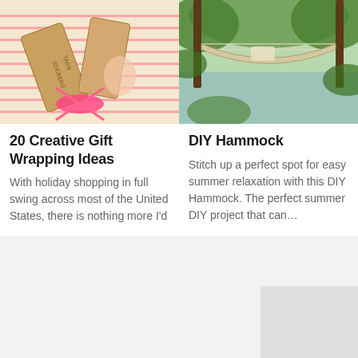[Figure (photo): Craft gift wrapping items including brown kraft paper rolls with handwritten text and pink/colorful ribbons on a light background]
20 Creative Gift Wrapping Ideas
With holiday shopping in full swing across most of the United States, there is nothing more I'd
[Figure (photo): A hammock hanging between two trees near water, surrounded by lush green vegetation in summer]
DIY Hammock
Stitch up a perfect spot for easy summer relaxation with this DIY Hammock.  The perfect summer DIY project that can…